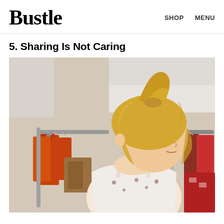Bustle   SHOP   MENU
5. Sharing Is Not Caring
[Figure (photo): Young blonde woman with high ponytail, wearing a floral sleeveless top, looking down while browsing clothing on racks in a store. Orange and red garments visible on hangers in the background.]